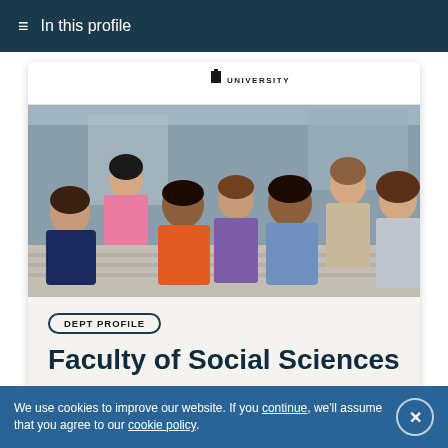≡ In this profile
[Figure (screenshot): University of Leeds logo with small building icon and text UNIVERSITY OF LEEDS]
[Figure (photo): Group of diverse students sitting on outdoor steps, smiling and talking, in front of a building]
DEPT PROFILE
Faculty of Social Sciences
We use cookies to improve our website. If you continue, we'll assume that you agree to our cookie policy.